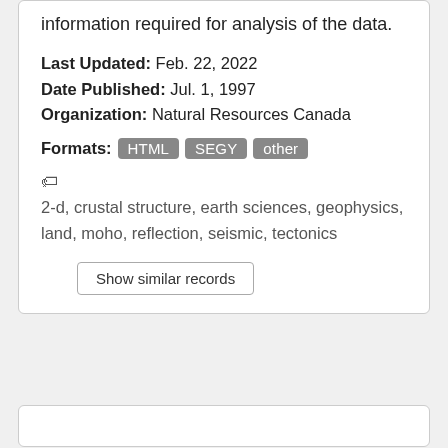information required for analysis of the data.
Last Updated: Feb. 22, 2022
Date Published: Jul. 1, 1997
Organization: Natural Resources Canada
Formats: HTML SEGY other
2-d, crustal structure, earth sciences, geophysics, land, moho, reflection, seismic, tectonics
Show similar records